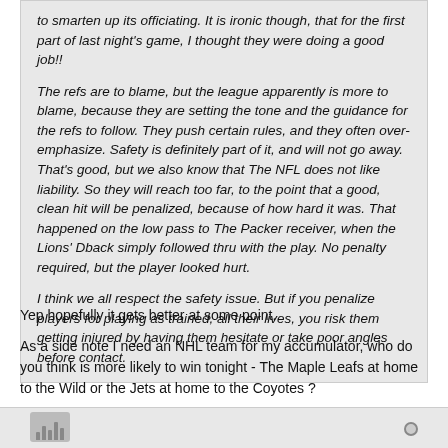to smarten up its officiating. It is ironic though, that for the first part of last night's game, I thought they were doing a good job!!

The refs are to blame, but the league apparently is more to blame, because they are setting the tone and the guidance for the refs to follow. They push certain rules, and they often over-emphasize. Safety is definitely part of it, and will not go away. That's good, but we also know that The NFL does not like liability. So they will reach too far, to the point that a good, clean hit will be penalized, because of how hard it was. That happened on the low pass to The Packer receiver, when the Lions' Dback simply followed thru with the play. No penalty required, but the player looked hurt.

I think we all respect the safety issue. But if you penalize players for playing as trained, all their lives, you risk them getting injured by having them hesitate or take poor angles before contact.
Yep hopefully it gets better at some point.
As a side note I need an NHL team for my accumulator, who do you think is more likely to win tonight - The Maple Leafs at home to the Wild or the Jets at home to the Coyotes ?